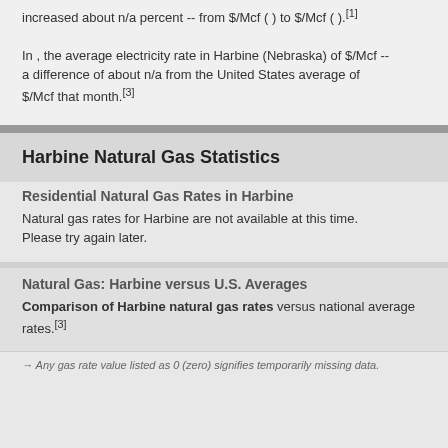increased about n/a percent -- from $/Mcf ( ) to $/Mcf ( ).[1]
In , the average electricity rate in Harbine (Nebraska) of $/Mcf -- a difference of about n/a from the United States average of $/Mcf that month.[3]
Harbine Natural Gas Statistics
Residential Natural Gas Rates in Harbine
Natural gas rates for Harbine are not available at this time. Please try again later.
Natural Gas: Harbine versus U.S. Averages
Comparison of Harbine natural gas rates versus national average rates.[3]
→ Any gas rate value listed as 0 (zero) signifies temporarily missing data.